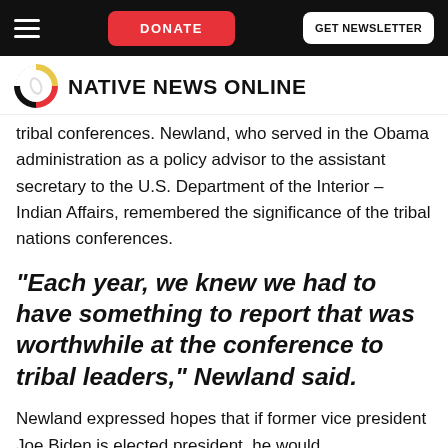DONATE | GET NEWSLETTER
[Figure (logo): Native News Online logo with circular feather icon and bold uppercase text]
tribal conferences. Newland, who served in the Obama administration as a policy advisor to the assistant secretary to the U.S. Department of the Interior – Indian Affairs, remembered the significance of the tribal nations conferences.
“Each year, we knew we had to have something to report that was worthwhile at the conference to tribal leaders,” Newland said.
Newland expressed hopes that if former vice president Joe Biden is elected president, he would